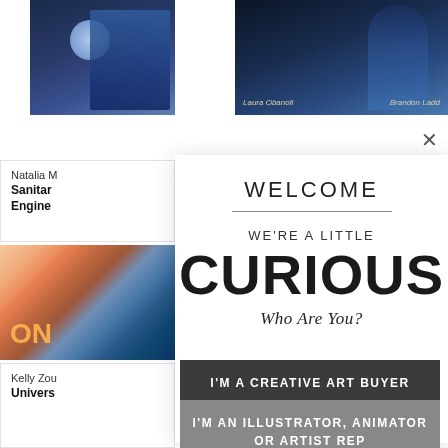[Figure (illustration): Top-left book cover with dark fantasy warrior figure holding glowing orb on chain, blue tones]
[Figure (illustration): Top-right book cover showing silhouette of girl in profile with blue tones, authors Laura Obanali and Brandon Ladd credited]
Natalia M
Sanitar
Engine
[Figure (illustration): Left sidebar colorful illustration with ON text, mixed pink/orange/teal tones]
Kelly Zou
Univer s
WELCOME
WE'RE A LITTLE
CURIOUS
Who Are You?
I'M A CREATIVE ART BUYER
I'M AN ILLUSTRATOR, ANIMATOR OR ARTIST REP